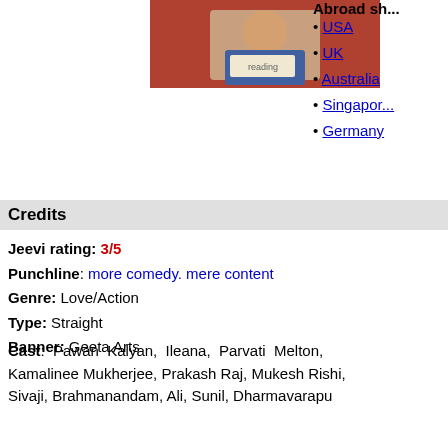[Figure (photo): Photo of a person reading a book, shown at top center of page]
Abroad sh...
USA
UK
Australia
Singapore
Germany
Credits
Jeevi rating: 3/5
Punchline: more comedy. mere content
Genre: Love/Action
Type: Straight
Banner: Geeta Arts
Cast: Pawan Kalyan, Ileana, Parvati Melton, Kamalinee Mukherjee, Prakash Raj, Mukesh Rishi, Sivaji, Brahmanandam, Ali, Sunil, Dharmavarapu
Music: Devi Srii Prasad
Cinematography: Guhan & Rasool Ellore
Lyrics: Sirivennela, Bhaskarabhatla & Ramajogaiah Sastri
Action: Vijay
Editing: Srikar Prasad
Dialogues - story -screenplay – direction: Trivikram
Producer: Allu Arvind
Release date: 2 April 2008